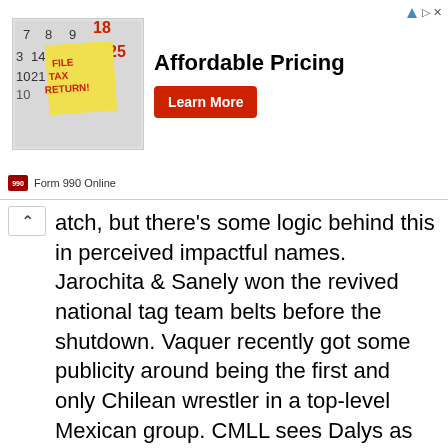[Figure (screenshot): Advertisement banner for Form 990 Online with 'Affordable Pricing' text, a sticky note image saying FILE TAX RETURN, a Learn More red button, and a corner ad indicator]
atch, but there's some logic behind this in perceived impactful names. Jarochita & Sanely won the revived national tag team belts before the shutdown. Vaquer recently got some publicity around being the first and only Chilean wrestler in a top-level Mexican group. CMLL sees Dalys as their most prominent female star, but that word is the problem. They all truly stars to the diehard CMLL fanatic who's watching this promotion, and they don't mean much